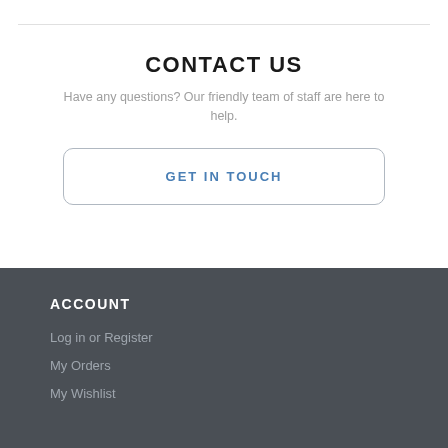CONTACT US
Have any questions? Our friendly team of staff are here to help.
GET IN TOUCH
ACCOUNT
Log in or Register
My Orders
My Wishlist